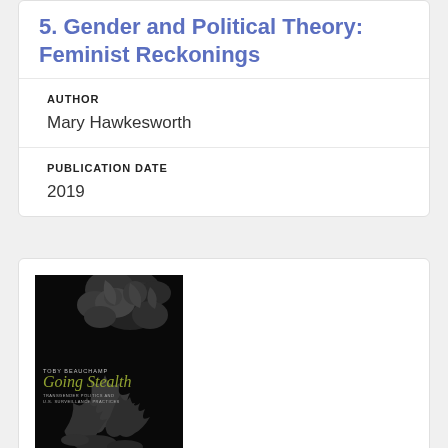5. Gender and Political Theory: Feminist Reckonings
AUTHOR
Mary Hawkesworth
PUBLICATION DATE
2019
[Figure (photo): Book cover of 'Going Stealth: Transgender Politics and U.S. Surveillance Practices' by Toby Beauchamp. Black background with grayscale botanical/natural illustrations and olive-green title text.]